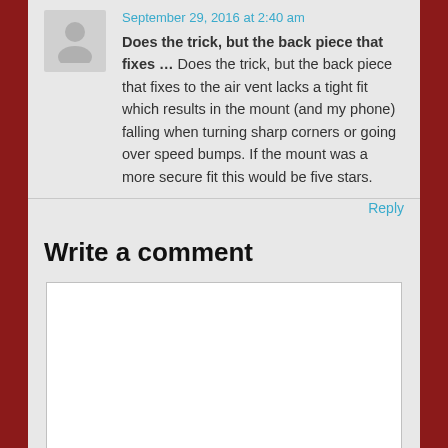September 29, 2016 at 2:40 am
Does the trick, but the back piece that fixes … Does the trick, but the back piece that fixes to the air vent lacks a tight fit which results in the mount (and my phone) falling when turning sharp corners or going over speed bumps. If the mount was a more secure fit this would be five stars.
Reply
Write a comment